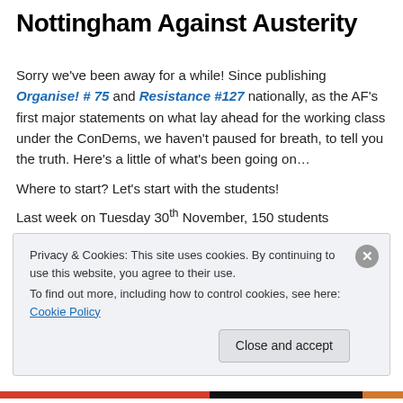Nottingham Against Austerity
Sorry we’ve been away for a while! Since publishing Organise! # 75 and Resistance #127 nationally, as the AF’s first major statements on what lay ahead for the working class under the ConDems, we haven’t paused for breath, to tell you the truth. Here’s a little of what’s been going on…
Where to start? Let’s start with the students!
Last week on Tuesday 30th November, 150 students
Privacy & Cookies: This site uses cookies. By continuing to use this website, you agree to their use.
To find out more, including how to control cookies, see here: Cookie Policy